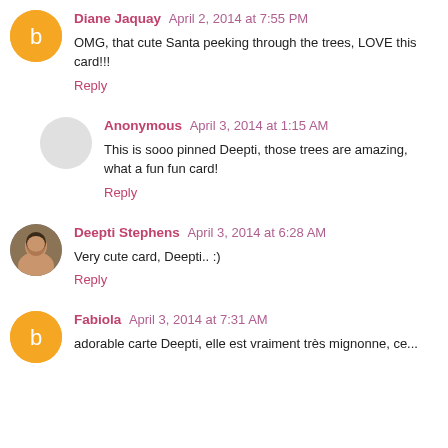Diane Jaquay  April 2, 2014 at 7:55 PM
OMG, that cute Santa peeking through the trees, LOVE this card!!!
Reply
Anonymous  April 3, 2014 at 1:15 AM
This is sooo pinned Deepti, those trees are amazing, what a fun fun card!
Reply
Deepti Stephens  April 3, 2014 at 6:28 AM
Very cute card, Deepti.. :)
Reply
Fabiola  April 3, 2014 at 7:31 AM
adorable carte Deepti, elle est vraiment très mignonne, ce...